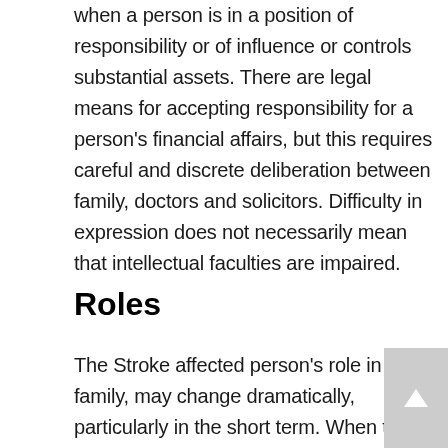when a person is in a position of responsibility or of influence or controls substantial assets. There are legal means for accepting responsibility for a person's financial affairs, but this requires careful and discrete deliberation between family, doctors and solicitors. Difficulty in expression does not necessarily mean that intellectual faculties are impaired.
Roles
The Stroke affected person's role in the family, may change dramatically, particularly in the short term. When the person cannot fulfil a role, it may be taken over by the spouse or a family member. There may also be complex